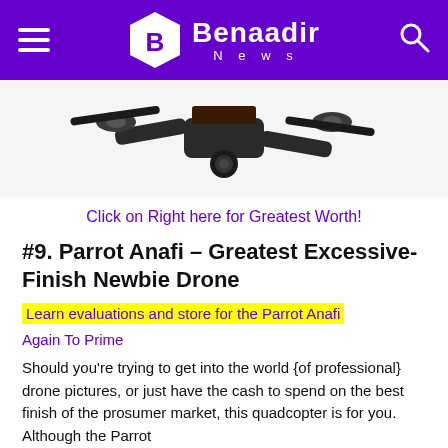Benaadir News
[Figure (photo): Drone (quadcopter) viewed from below, showing camera and propeller arms on white background]
Click on Right here for Greatest Worth!
#9. Parrot Anafi – Greatest Excessive-Finish Newbie Drone
Learn evaluations and store for the Parrot Anafi
Again To Prime
Should you're trying to get into the world {of professional} drone pictures, or just have the cash to spend on the best finish of the prosumer market, this quadcopter is for you. Although the Parrot